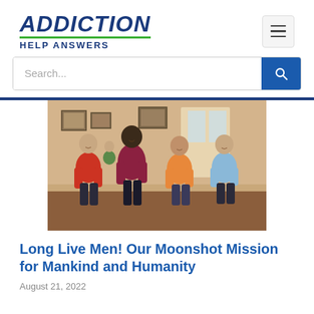ADDICTION HELP ANSWERS
Search...
[Figure (photo): Four men standing together indoors in a room with framed pictures on the wall, smiling and interacting. They are wearing polo shirts in red, dark red/maroon, orange, and light blue.]
Long Live Men! Our Moonshot Mission for Mankind and Humanity
August 21, 2022